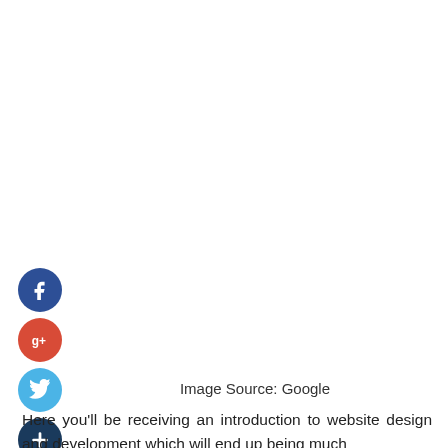[Figure (infographic): Social media sharing icons arranged vertically: Facebook (dark blue circle with 'f'), Google+ (red circle with 'g+'), Twitter (light blue circle with bird), and a dark navy circle with '+' symbol]
Image Source: Google
Here you'll be receiving an introduction to website design and development which will end up being much